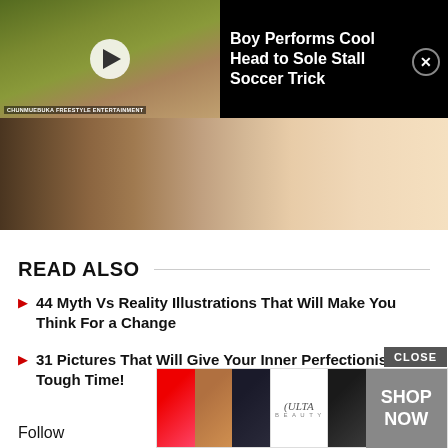[Figure (screenshot): Video overlay banner with black background. Left side shows a video thumbnail of a boy on a soccer/football field with a play button. Right side shows title text 'Boy Performs Cool Head to Sole Stall Soccer Trick' in white on black, with a close (X) button in top-right corner. Label at bottom of thumbnail reads 'CHUNMUEBUKA FREESTYLE ENTERTAINMENT'.]
[Figure (photo): Close-up photo of what appears to be human skin and hair/beard, transitioning from dark brown hair on the left to light skin tone on the right.]
READ ALSO
44 Myth Vs Reality Illustrations That Will Make You Think For a Change
31 Pictures That Will Give Your Inner Perfectionist a Tough Time!
Follow at
[Figure (screenshot): ULTA beauty advertisement banner at bottom of page with CLOSE button. Shows multiple beauty/makeup images (red lips, makeup brush, eyes), ULTA logo, more eye images, and a grey SHOP NOW button.]